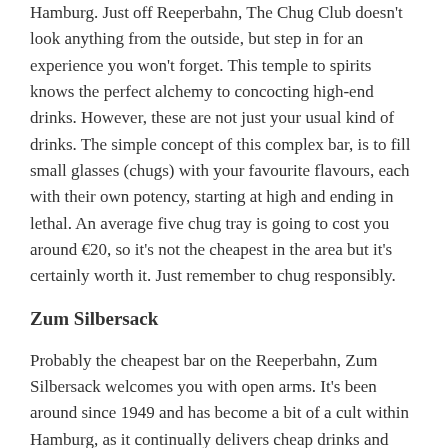Hamburg. Just off Reeperbahn, The Chug Club doesn't look anything from the outside, but step in for an experience you won't forget. This temple to spirits knows the perfect alchemy to concocting high-end drinks. However, these are not just your usual kind of drinks. The simple concept of this complex bar, is to fill small glasses (chugs) with your favourite flavours, each with their own potency, starting at high and ending in lethal. An average five chug tray is going to cost you around €20, so it's not the cheapest in the area but it's certainly worth it. Just remember to chug responsibly.
Zum Silbersack
Probably the cheapest bar on the Reeperbahn, Zum Silbersack welcomes you with open arms. It's been around since 1949 and has become a bit of a cult within Hamburg, as it continually delivers cheap drinks and German power ballads in equal measures. We'll be honest, the floors are a bit sticky, the air is vaguely smoky and the no-frills staff aren't going to serve you cocktails with origami adornments, but, it's the most authentic German boozer